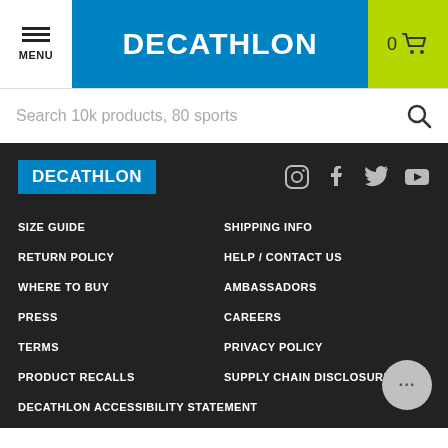MENU | DECATHLON | 0 [cart]
Search 10k products, 80 sports
[Figure (logo): Decathlon logo white text on blue background in footer]
[Figure (other): Social media icons: Instagram, Facebook, Twitter, YouTube]
SIZE GUIDE
SHIPPING INFO
RETURN POLICY
HELP / CONTACT US
WHERE TO BUY
AMBASSADORS
PRESS
CAREERS
TERMS
PRIVACY POLICY
PRODUCT RECALLS
SUPPLY CHAIN DISCLOSURE
DECATHLON ACCESSIBILITY STATEMENT